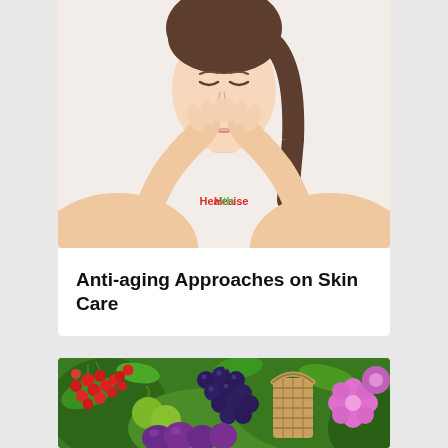[Figure (photo): A woman with closed eyes and a serene expression, holding her face gently with both hands, against a light background. A Healthise watermark is visible.]
Anti-aging Approaches on Skin Care
[Figure (photo): A colorful arrangement of assorted fresh fruits including red berries, green apples, dark grapes, purple plums, and pink flowers, partially in a basket, with green foliage background.]